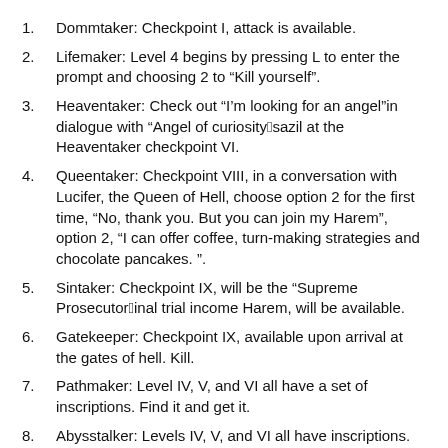Dommtaker: Checkpoint I, attack is available.
Lifemaker: Level 4 begins by pressing L to enter the prompt and choosing 2 to “Kill yourself”.
Heaventaker: Check out “I’m looking for an angel”in dialogue with “Angel of curiosity”Asazil at the Heaventaker checkpoint VI.
Queentaker: Checkpoint VIII, in a conversation with Lucifer, the Queen of Hell, choose option 2 for the first time, “No, thank you. But you can join my Harem”, option 2, “I can offer coffee, turn-making strategies and chocolate pancakes. ”.
Sintaker: Checkpoint IX, will be the “Supreme Prosecutor”final trial income Harem, will be available.
Gatekeeper: Checkpoint IX, available upon arrival at the gates of hell. Kill.
Pathmaker: Level IV, V, and VI all have a set of inscriptions. Find it and get it.
Abysstalker: Levels IV, V, and VI all have inscriptions. FIND